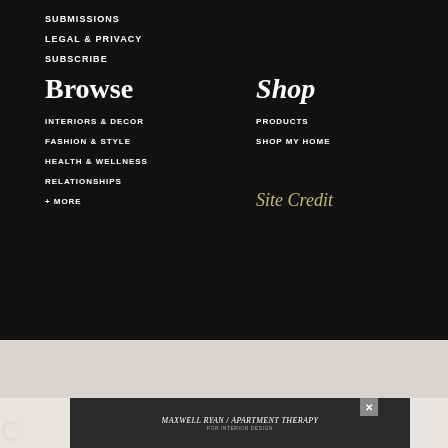SUBMISSIONS
LEGAL & PRIVACY
SUBSCRIBE
Browse
Shop
INTERIORS & DECOR
PRODUCTS
FASHION & STYLE
SHOP MY HOME
HEALTH & WELLNESS
RELATIONSHIPS
+ MORE
Site Credit
[Figure (photo): Advertisement banner with Maxwell Ryan / Apartment Therapy branding, showing interior decor with orange chairs and plants]